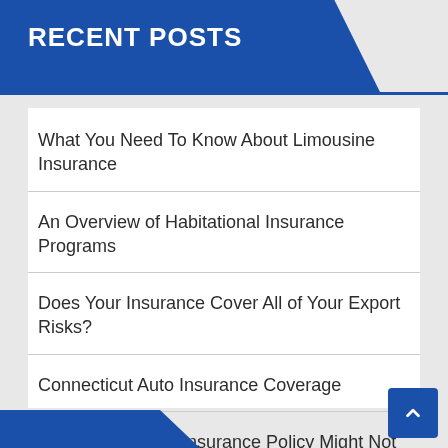RECENT POSTS
What You Need To Know About Limousine Insurance
An Overview of Habitational Insurance Programs
Does Your Insurance Cover All of Your Export Risks?
Connecticut Auto Insurance Coverage
Why a Traditional Insurance Policy Might Not Be the Best Fit